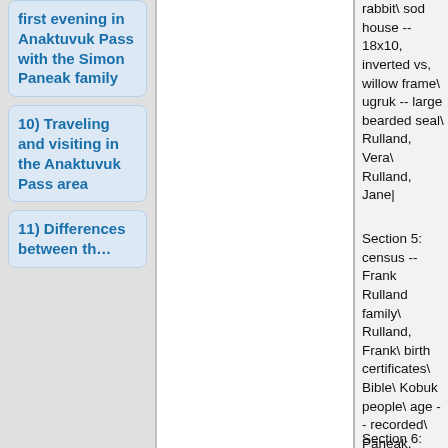first evening in Anaktuvuk Pass with the Simon Paneak family
10) Traveling and visiting in the Anaktuvuk Pass area
11) Differences between th...
rabbit\ sod house -- 18x10, inverted vs, willow frame\ ugruk -- large bearded seal\ Rulland, Vera\ Rulland, Jane|
Section 5: census -- Frank Rulland family\ Rulland, Frank\ birth certificates\ Bible\ Kobuk people\ age -- recorded\ Paneak, Susie\ wood -- cutting|
Section 6: Mekiana, Homer\